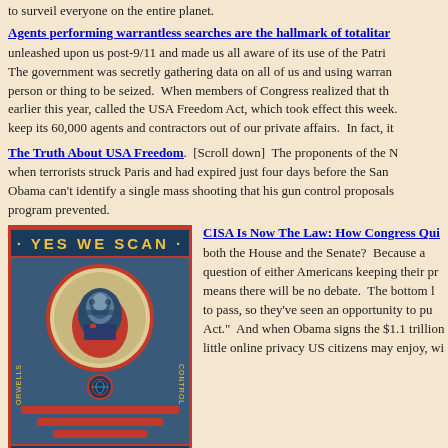to surveil everyone on the entire planet.
Agents performing warrantless searches are the hallmark of totalitar...
unleashed upon us post-9/11 and made us all aware of its use of the Patri... The government was secretly gathering data on all of us and using warran... person or thing to be seized.  When members of Congress realized that th... earlier this year, called the USA Freedom Act, which took effect this week... keep its 60,000 agents and contractors out of our private affairs.  In fact, it...
The Truth About USA Freedom
[Scroll down]  The proponents of the N... when terrorists struck Paris and had expired just four days before the San... Obama can't identify a single mass shooting that his gun control proposals... program prevented.
[Figure (illustration): YES WE SCAN poster depicting Obama with surveillance headphones in Shepard Fairey style with text 'WE ARE WATCHING YOU.' and side text 'ORWELLS CONTROL']
CISA Is Now The Law: How Congress Qui...
both the House and the Senate?  Because a... question of either Americans keeping their pr... means there will be no debate.  The bottom l... to pass, so they've seen an opportunity to pu... Act."  And when Obama signs the $1.1 trillion... little online privacy US citizens may enjoy, wi...
Related topic:  The Department of Justice vs Apple Computer, a case... terrorist's cell phone — and all other phones in that product line.